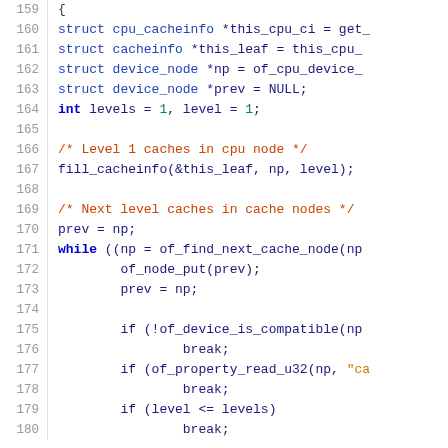Source code snippet, lines 159-180, showing C kernel cache initialization function body
[Figure (screenshot): C source code showing lines 159-180 of a Linux kernel function. Includes struct declarations for cpu_cacheinfo, cacheinfo, device_node; variable declarations; comments about Level 1 caches and Next level caches; function calls fill_cacheinfo and of_find_next_cache_node; while loop with of_node_put, prev=np, and if statements checking of_device_is_compatible, of_property_read_u32, and level <= levels with break statements.]